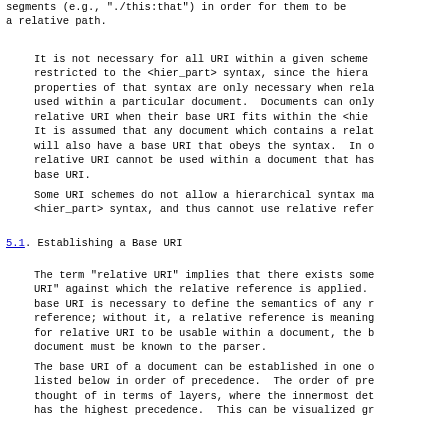segments (e.g., "./this:that") in order for them to be a relative path.
It is not necessary for all URI within a given scheme restricted to the <hier_part> syntax, since the hiera properties of that syntax are only necessary when rela used within a particular document.  Documents can only relative URI when their base URI fits within the <hie It is assumed that any document which contains a relat will also have a base URI that obeys the syntax.  In  relative URI cannot be used within a document that has base URI.
Some URI schemes do not allow a hierarchical syntax m <hier_part> syntax, and thus cannot use relative refer
5.1. Establishing a Base URI
The term "relative URI" implies that there exists some URI" against which the relative reference is applied. base URI is necessary to define the semantics of any  reference; without it, a relative reference is meaning for relative URI to be usable within a document, the  document must be known to the parser.
The base URI of a document can be established in one o listed below in order of precedence.  The order of pr thought of in terms of layers, where the innermost de has the highest precedence.  This can be visualized gr